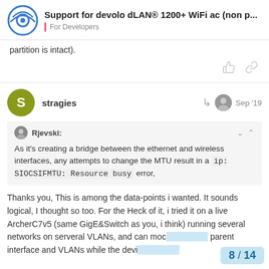Support for devolo dLAN® 1200+ WiFi ac (non p... | For Developers
partition is intact).
stragies · Sep '19
Rjevski: As it's creating a bridge between the ethernet and wireless interfaces, any attempts to change the MTU result in a ip: SIOCSIFMTU: Resource busy error,
Thanks you, This is among the data-points i wanted. It sounds logical, I thought so too. For the Heck of it, i tried it on a live ArcherC7v5 (same GigE&Switch as you, i think) running several networks on serveral VLANs, and can moc parent interface and VLANs while the devi
8 / 14